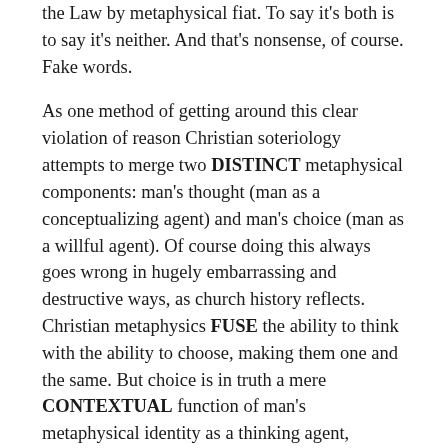the Law by metaphysical fiat. To say it's both is to say it's neither. And that's nonsense, of course. Fake words.
As one method of getting around this clear violation of reason Christian soteriology attempts to merge two DISTINCT metaphysical components: man's thought (man as a conceptualizing agent) and man's choice (man as a willful agent). Of course doing this always goes wrong in hugely embarrassing and destructive ways, as church history reflects. Christian metaphysics FUSE the ability to think with the ability to choose, making them one and the same. But choice is in truth a mere CONTEXTUAL function of man's metaphysical identity as a thinking agent, stemming from the fact that thought implies will. It's the equivalent of saying that a pencil IS whatever it happens to write; there's no root difference between what IS written and what IS the pencil. So one's choices are not actually chosen, and yet in Christianity, with the right metaphysical subterfuge, it can still be "technically"